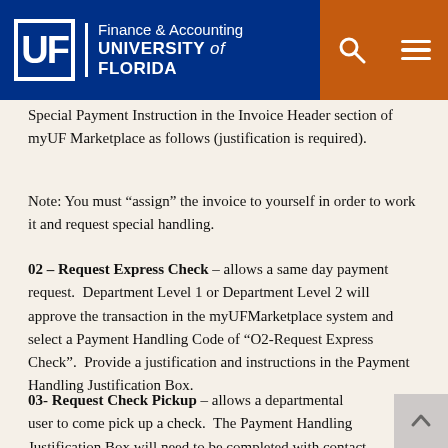UF Finance & Accounting | UNIVERSITY of FLORIDA
Special Payment Instruction in the Invoice Header section of myUF Marketplace as follows (justification is required).
Note: You must “assign” the invoice to yourself in order to work it and request special handling.
02 – Request Express Check – allows a same day payment request.  Department Level 1 or Department Level 2 will approve the transaction in the myUFMarketplace system and select a Payment Handling Code of “O2-Request Express Check”.  Provide a justification and instructions in the Payment Handling Justification Box.
03- Request Check Pickup – allows a departmental user to come pick up a check.  The Payment Handling Justification Box will need to be completed with contact